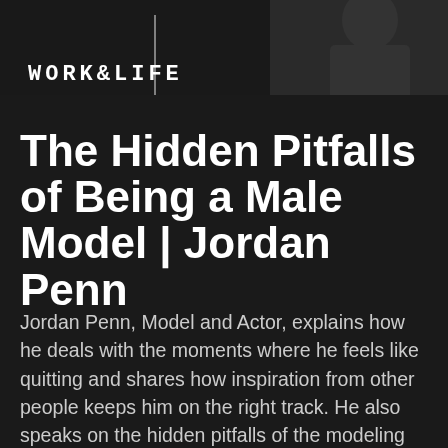[Figure (photo): Dark banner with a person (male model/actor) in the background and the text WORK & LIFE in white monospace letters]
The Hidden Pitfalls of Being a Male Model | Jordan Penn
Jordan Penn, Model and Actor, explains how he deals with the moments where he feels like quitting and shares how inspiration from other people keeps him on the right track. He also speaks on the hidden pitfalls of the modeling industry as a male including, sexually proposition, harassment and stereotypes. Company Website: www.awiseway.com Join Mailing [...]